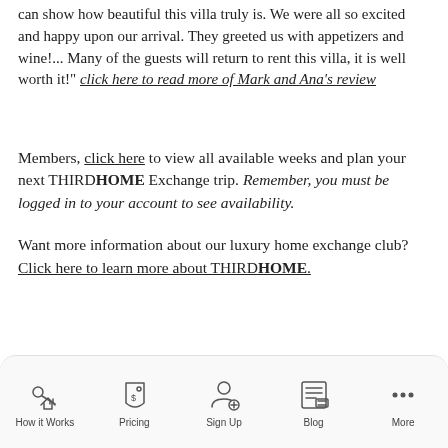can show how beautiful this villa truly is. We were all so excited and happy upon our arrival. They greeted us with appetizers and wine!... Many of the guests will return to rent this villa, it is well worth it!" click here to read more of Mark and Ana's review
Members, click here to view all available weeks and plan your next THIRDHOME Exchange trip. Remember, you must be logged in to your account to see availability.
Want more information about our luxury home exchange club? Click here to learn more about THIRDHOME.
[Figure (other): Mobile app navigation bar with icons for How it Works, Pricing, Sign Up, Blog, and More]